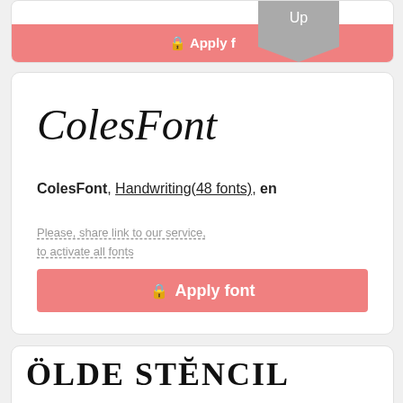[Figure (screenshot): Top portion of a font card with a pink 'Apply f...' button and a grey ribbon badge showing 'Up']
[Figure (screenshot): Font card showing 'ColesFont' in handwriting style preview, metadata line 'ColesFont, Handwriting(48 fonts), en', share link text, and a pink 'Apply font' button with lock icon]
ColesFont, Handwriting(48 fonts), en
Please, share link to our service, to activate all fonts
[Figure (screenshot): Bottom card partially visible showing 'OLDE STENCIL' text in blackletter/old English style font]